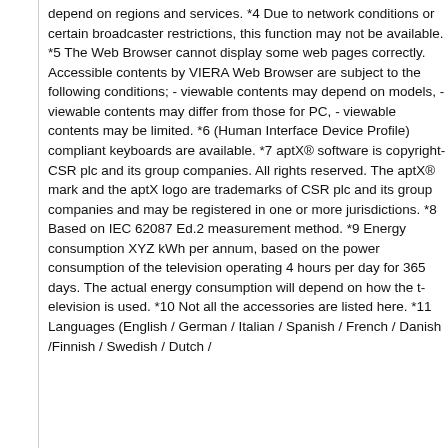depend on regions and services. *4 Due to network conditions or certain broadcaster restrictions, this function may not be available. *5 The Web Browser cannot display some web pages correctly. Accessible contents by VIERA Web Browser are subject to the following conditions; - viewable contents may depend on models, - viewable contents may differ from those for PC, - viewable contents may be limited. *6 (Human Interface Device Profile) compliant keyboards are available. *7 aptX® software is copyright CSR plc and its group companies. All rights reserved. The aptX® mark and the aptX logo are trademarks of CSR plc and its group companies and may be registered in one or more jurisdictions. *8 Based on IEC 62087 Ed.2 measurement method. *9 Energy consumption XYZ kWh per annum, based on the power consumption of the television operating 4 hours per day for 365 days. The actual energy consumption will depend on how the television is used. *10 Not all the accessories are listed here. *11 Languages (English / German / Italian / Spanish / French / Danish /Finnish / Swedish / Dutch /